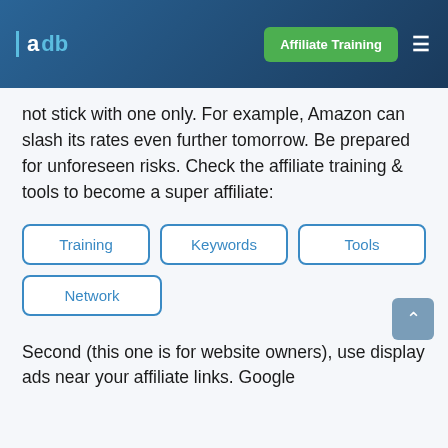a|db  Affiliate Training
not stick with one only. For example, Amazon can slash its rates even further tomorrow. Be prepared for unforeseen risks. Check the affiliate training & tools to become a super affiliate:
Training
Keywords
Tools
Network
Second (this one is for website owners), use display ads near your affiliate links. Google